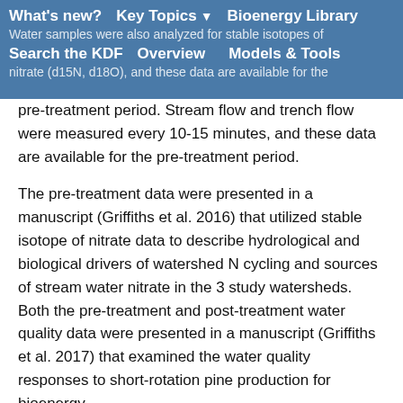What's new? | Key Topics | Bioenergy Library | Search the KDF | Overview | Models & Tools
Water samples were also analyzed for stable isotopes of nitrate (d15N, d18O), and these data are available for the pre-treatment period. Stream flow and trench flow were measured every 10-15 minutes, and these data are available for the pre-treatment period.
The pre-treatment data were presented in a manuscript (Griffiths et al. 2016) that utilized stable isotope of nitrate data to describe hydrological and biological drivers of watershed N cycling and sources of stream water nitrate in the 3 study watersheds. Both the pre-treatment and post-treatment water quality data were presented in a manuscript (Griffiths et al. 2017) that examined the water quality responses to short-rotation pine production for bioenergy.
Griffiths, N.A., C.R. Jackson, J.J. McDonnell, J. Klaus, E. Du, and M.M. Bitew. 2016. Dual nitrate isotopes clarify the